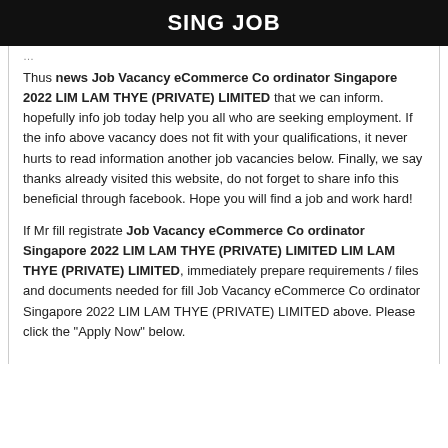SING JOB
Thus news Job Vacancy eCommerce Co ordinator Singapore 2022 LIM LAM THYE (PRIVATE) LIMITED that we can inform. hopefully info job today help you all who are seeking employment. If the info above vacancy does not fit with your qualifications, it never hurts to read information another job vacancies below. Finally, we say thanks already visited this website, do not forget to share info this beneficial through facebook. Hope you will find a job and work hard!
If Mr fill registrate Job Vacancy eCommerce Co ordinator Singapore 2022 LIM LAM THYE (PRIVATE) LIMITED LIM LAM THYE (PRIVATE) LIMITED, immediately prepare requirements / files and documents needed for fill Job Vacancy eCommerce Co ordinator Singapore 2022 LIM LAM THYE (PRIVATE) LIMITED above. Please click the "Apply Now" below.